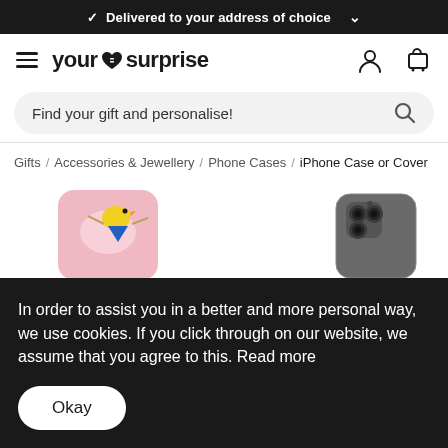✓ Delivered to your address of choice
[Figure (logo): YourSurprise logo with hamburger menu, user icon, and cart icon in navigation bar]
Find your gift and personalise!
Gifts / Accessories & Jewellery / Phone Cases / iPhone Case or Cover
[Figure (photo): Pink iPhone case with yellow bird illustration on the left, and the back of a dark grey iPhone showing camera on the right]
In order to assist you in a better and more personal way, we use cookies. If you click through on our website, we assume that you agree to this. Read more
Okay